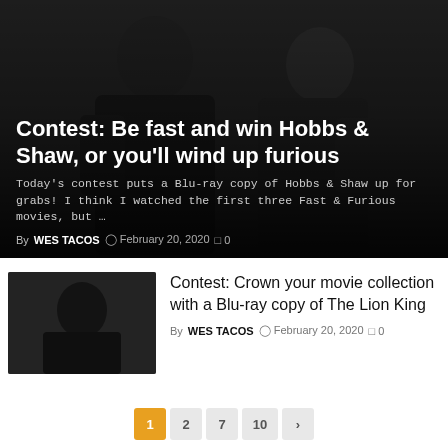[Figure (photo): Two bald men in dark clothing facing each other in a confrontational pose against a dark background — movie still from Hobbs & Shaw]
Contest: Be fast and win Hobbs & Shaw, or you'll wind up furious
Today's contest puts a Blu-ray copy of Hobbs & Shaw up for grabs! I think I watched the first three Fast & Furious movies, but …
By WES TACOS  ⊙ February 20, 2020  □ 0
[Figure (photo): Small thumbnail image for the Lion King contest article]
Contest: Crown your movie collection with a Blu-ray copy of The Lion King
By WES TACOS  ⊙ February 20, 2020  □ 0
1  2  7  10  >